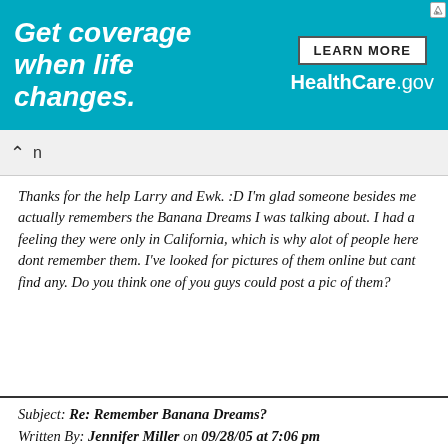[Figure (screenshot): Healthcare.gov advertisement banner. Teal background with white italic bold text 'Get coverage when life changes.' on the left, and a 'LEARN MORE' button and 'HealthCare.gov' on the right.]
Thanks for the help Larry and Ewk. :D I'm glad someone besides me actually remembers the Banana Dreams I was talking about. I had a feeling they were only in California, which is why alot of people here dont remember them. I've looked for pictures of them online but cant find any. Do you think one of you guys could post a pic of them?
Subject: Re: Remember Banana Dreams?
Written By: Jennifer Miller on 09/28/05 at 7:06 pm
Oh my goodness!!!  I was on Google looking for these